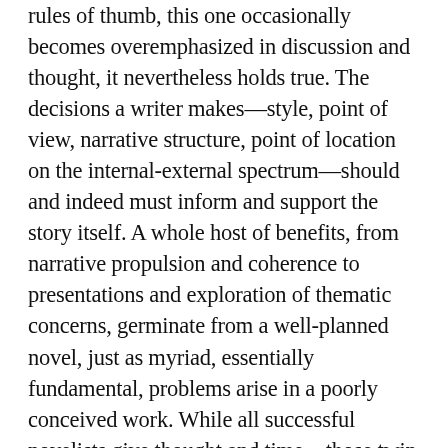rules of thumb, this one occasionally becomes overemphasized in discussion and thought, it nevertheless holds true. The decisions a writer makes—style, point of view, narrative structure, point of location on the internal-external spectrum—should and indeed must inform and support the story itself. A whole host of benefits, from narrative propulsion and coherence to presentations and exploration of thematic concerns, germinate from a well-planned novel, just as myriad, essentially fundamental, problems arise in a poorly conceived work. While all successful novelists give thought and time—those twin treasures of the writing life—to this issue, in their focused and coherent debut, Agatha of Little Neon, Claire Luchette finds a creative, deceptively